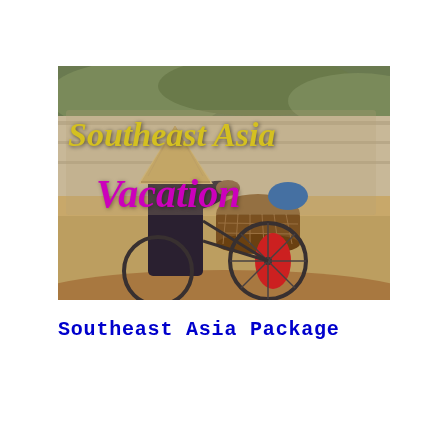[Figure (photo): A person wearing a traditional Vietnamese conical hat riding a bicycle with a large wicker basket on the back and a red plastic bag hanging down, on a sandy/dirt path. Text overlaid on the photo reads 'Southeast Asia' in yellow italic and 'Vacation' in magenta/purple italic.]
Southeast Asia Package